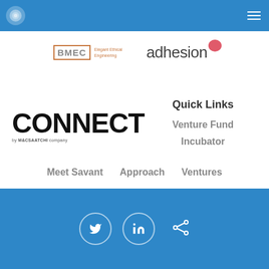Navigation bar with logo and menu
[Figure (logo): BMEC Elegant Ethical Engineering logo]
[Figure (logo): adhesion logo with pink circle]
[Figure (logo): CONNECT by M&C Saatchi company logo]
Quick Links
Venture Fund
Incubator
Meet Savant
Approach
Ventures
Social icons: Twitter, LinkedIn, Share